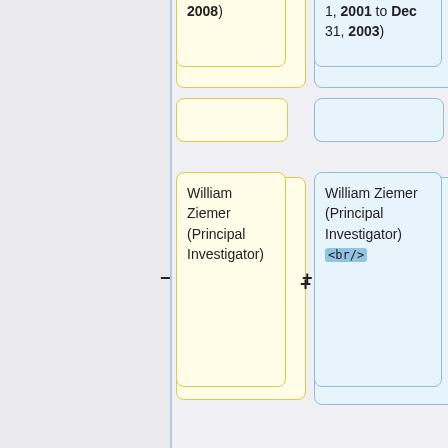[Figure (flowchart): A flowchart/diff view showing two columns of data entry boxes. Left column has yellow-bordered boxes with investigator info; right column has blue-bordered boxes with investigator info including HTML br tags. Boxes are connected with + and - symbols indicating additions/removals.]
2008)
1, 2001 to Dec 31, 2003)
William Ziemer (Principal Investigator)
William Ziemer (Principal Investigator) <br/>
Arthur Wayman (Co-Principal Investigator) <br/>
Tangan Gao (Co-Principal Investigator<br/>)
Angelo Segalla (Co-Principal Investigator) <br/>